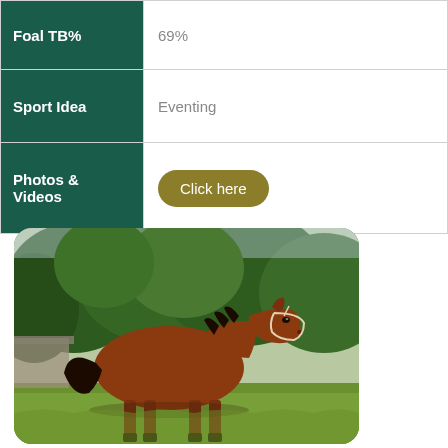| Field | Value |
| --- | --- |
| Foal TB% | 69% |
| Sport Idea | Eventing |
| Photos & Videos | Click here |
[Figure (photo): A bay horse standing in a field with green trees in the background, photographed outdoors.]